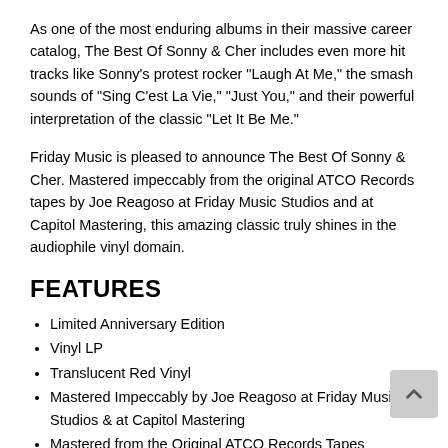As one of the most enduring albums in their massive career catalog, The Best Of Sonny & Cher includes even more hit tracks like Sonny's protest rocker "Laugh At Me," the smash sounds of "Sing C'est La Vie," "Just You," and their powerful interpretation of the classic "Let It Be Me."
Friday Music is pleased to announce The Best Of Sonny & Cher. Mastered impeccably from the original ATCO Records tapes by Joe Reagoso at Friday Music Studios and at Capitol Mastering, this amazing classic truly shines in the audiophile vinyl domain.
FEATURES
Limited Anniversary Edition
Vinyl LP
Translucent Red Vinyl
Mastered Impeccably by Joe Reagoso at Friday Music Studios & at Capitol Mastering
Mastered from the Original ATCO Records Tapes
Made in the U.S.A.